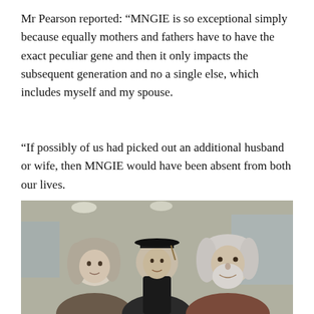Mr Pearson reported: “MNGIE is so exceptional simply because equally mothers and fathers have to have the exact peculiar gene and then it only impacts the subsequent generation and no a single else, which includes myself and my spouse.
“If possibly of us had picked out an additional husband or wife, then MNGIE would have been absent from both our lives.
“Nonetheless, this would not have aided Gail, Owen, Zillah or Verity as they would have experienced no lifestyle at all.”
[Figure (photo): A photograph showing two older adults (a woman with light grey hair on the left and a man with white/grey beard on the right) flanking a person in the middle wearing a graduation cap, taken indoors at what appears to be a graduation ceremony.]